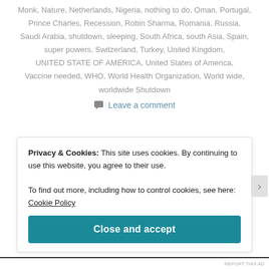Monk, Nature, Netherlands, Nigeria, nothing to do, Oman, Portugal, Prince Charles, Recession, Robin Sharma, Romania, Russia, Saudi Arabia, shutdown, sleeping, South Africa, south Asia, Spain, super powers, Switzerland, Turkey, United Kingdom, UNITED STATE OF AMERICA, United States of America, Vaccine needed, WHO, World Health Organization, World wide, worldwide Shutdown
Leave a comment
Privacy & Cookies: This site uses cookies. By continuing to use this website, you agree to their use.
To find out more, including how to control cookies, see here: Cookie Policy
Close and accept